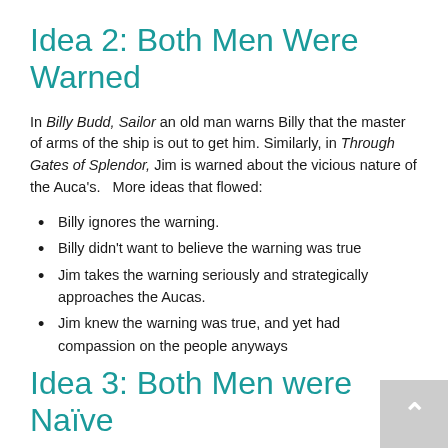Idea 2: Both Men Were Warned
In Billy Budd, Sailor an old man warns Billy that the master of arms of the ship is out to get him. Similarly, in Through Gates of Splendor, Jim is warned about the vicious nature of the Auca's.   More ideas that flowed:
Billy ignores the warning.
Billy didn't want to believe the warning was true
Jim takes the warning seriously and strategically approaches the Aucas.
Jim knew the warning was true, and yet had compassion on the people anyways
Idea 3: Both Men were Naïve
As young men, both men were still growing wise in the